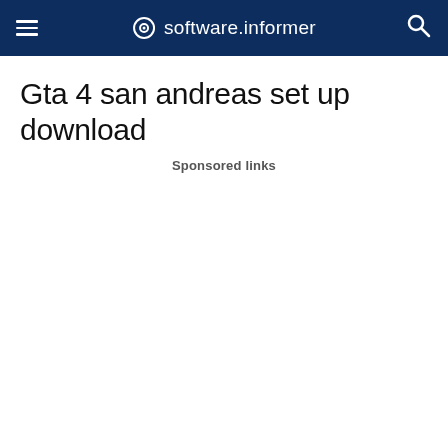software.informer
Gta 4 san andreas set up download
Sponsored links